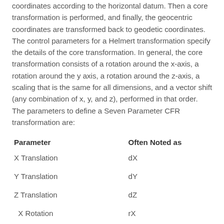coordinates according to the horizontal datum. Then a core transformation is performed, and finally, the geocentric coordinates are transformed back to geodetic coordinates. The control parameters for a Helmert transformation specify the details of the core transformation. In general, the core transformation consists of a rotation around the x-axis, a rotation around the y axis, a rotation around the z-axis, a scaling that is the same for all dimensions, and a vector shift (any combination of x, y, and z), performed in that order.
The parameters to define a Seven Parameter CFR transformation are:
| Parameter | Often Noted as |
| --- | --- |
| X Translation | dX |
| Y Translation | dY |
| Z Translation | dZ |
| X Rotation | rX |